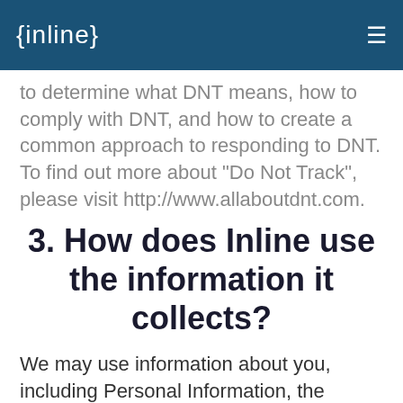{inline}
to determine what DNT means, how to comply with DNT, and how to create a common approach to responding to DNT. To find out more about "Do Not Track", please visit http://www.allaboutdnt.com.
3. How does Inline use the information it collects?
We may use information about you, including Personal Information, the information you provided in your Profile, Your Content and